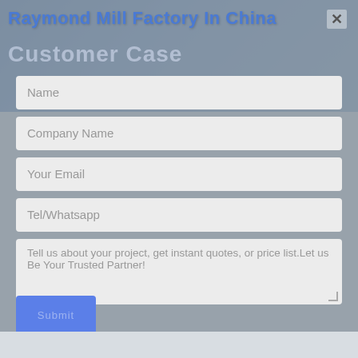Raymond Mill Factory In China
Customer Case
[Figure (screenshot): Modal dialog overlay on a background showing industrial/business scene with form fields for contact information]
Name
Company Name
Your Email
Tel/Whatsapp
Tell us about your project, get instant quotes, or price list.Let us Be Your Trusted Partner!